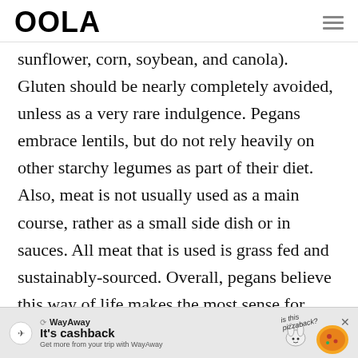OOLA
sunflower, corn, soybean, and canola). Gluten should be nearly completely avoided, unless as a very rare indulgence. Pegans embrace lentils, but do not rely heavily on other starchy legumes as part of their diet. Also, meat is not usually used as a main course, rather as a small side dish or in sauces. All meat that is used is grass fed and sustainably-sourced. Overall, pegans believe this way of life makes the most sense for
[Figure (other): WayAway advertisement banner: 'It’s cashback - Get more from your trip with WayAway' with pizza illustration and 'is this pizzaback?' text annotation]